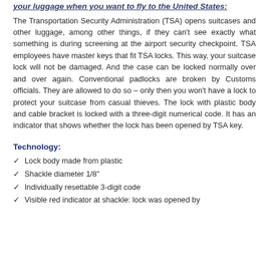your luggage when you want to fly to the United States:
The Transportation Security Administration (TSA) opens suitcases and other luggage, among other things, if they can't see exactly what something is during screening at the airport security checkpoint. TSA employees have master keys that fit TSA locks. This way, your suitcase lock will not be damaged. And the case can be locked normally over and over again. Conventional padlocks are broken by Customs officials. They are allowed to do so – only then you won't have a lock to protect your suitcase from casual thieves. The lock with plastic body and cable bracket is locked with a three-digit numerical code. It has an indicator that shows whether the lock has been opened by TSA key.
Technology:
Lock body made from plastic
Shackle diameter 1/8"
Individually resettable 3-digit code
Visible red indicator at shackle: lock was opened by